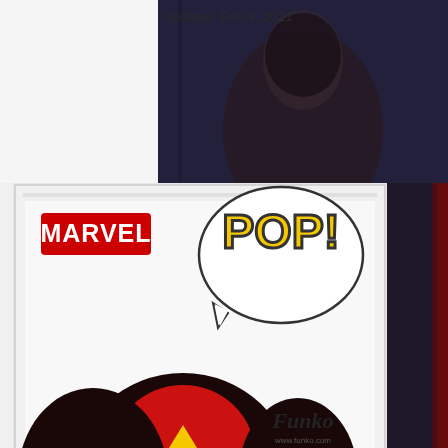Updated: Feb 9, 2021
[Figure (photo): Funko POP! Marvel Spider-Woman box displayed from the back/side showing MARVEL logo, POP! speech bubble logo, Funko branding, and the top of the Spider-Woman figure head visible. Background shows a dark blurred image.]
I have been waiting for a Spider-Woman #POP for a long time. I often wondered why other characters have gotten the POP love before Ms. Jessica Drew and for a bit I was frustrated but as I have seen POP's